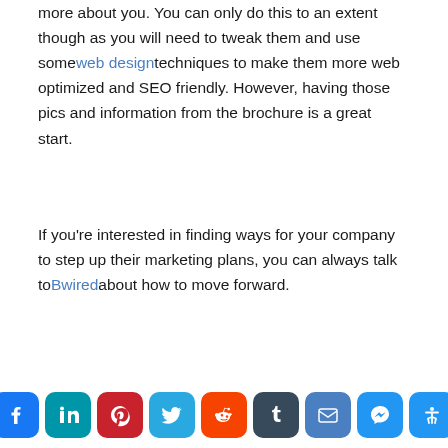more about you. You can only do this to an extent though as you will need to tweak them and use some web design techniques to make them more web optimized and SEO friendly. However, having those pics and information from the brochure is a great start.
If you're interested in finding ways for your company to step up their marketing plans, you can always talk to Bwired about how to move forward.
[Figure (infographic): Social media share buttons row: Facebook, LinkedIn, Pinterest, Twitter, Reddit, Tumblr, Email, Messenger, Accessibility]